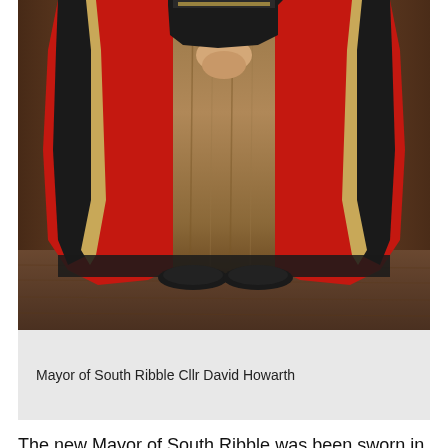[Figure (photo): A person wearing the official mayoral robes of red with black velvet trim and gold/fur detailing, standing against a dark brown background on a wooden floor. The face is not visible. The robes are ceremonial, full-length, predominantly red with black panels and fur/gold trim.]
Mayor of South Ribble Cllr David Howarth
The new Mayor of South Ribble was been sworn in at a ceremony at the Civic Centre on Wednesday 18th May.